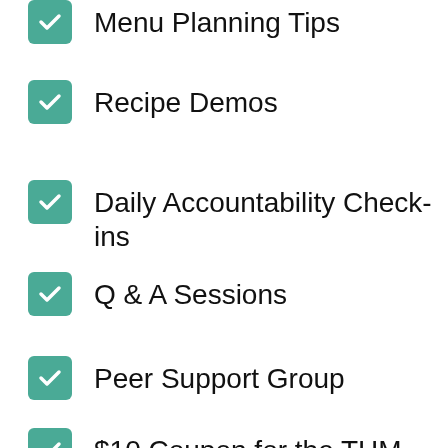Menu Planning Tips
Recipe Demos
Daily Accountability Check-ins
Q & A Sessions
Peer Support Group
$10 Coupon for the THM Membership Site